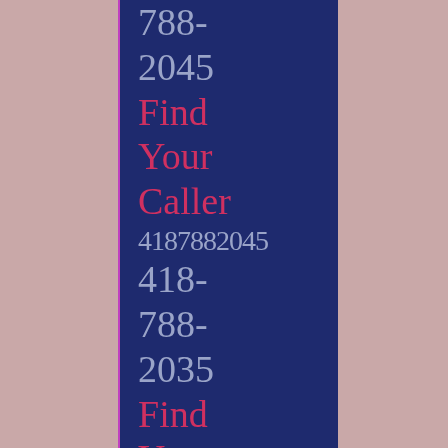788-2045 Find Your Caller 4187882045 418-788-2035 Find Your Caller 4187882035 418-788-2069 Find...